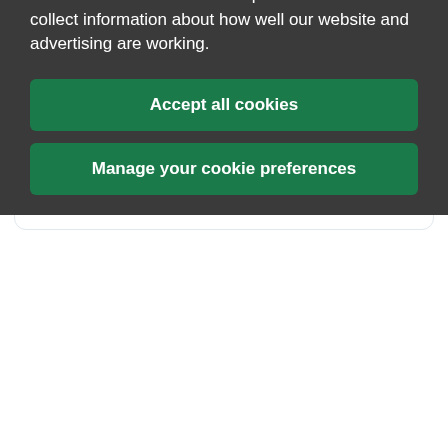Tweets from @CUConservation
Cardiff Con... @CUC... · Aug 26 — The next student for the spotlight is @KittyParker93 part of her placement included conserving some Roman coins instagram.com/p/Chubq7hOUMZ/...
We use cookies to enable helpful features and collect information about how well our website and advertising are working.
Accept all cookies
Manage your cookie preferences